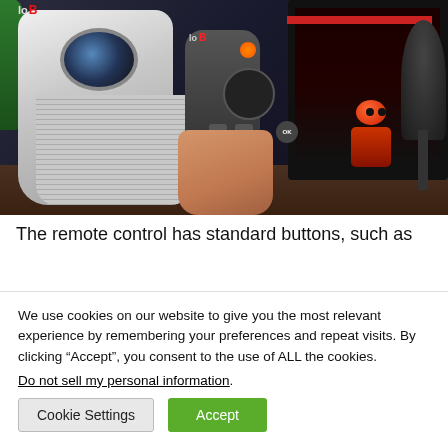[Figure (photo): Photo of a person holding a dark gray remote control with navigation buttons including OK, directional pad, and other buttons. In the background is a white cylindrical projector on a desk, a monitor/TV screen with a dark interface, a red robot figurine, and a microphone. The scene is set on a dark wooden desk.]
The remote control has standard buttons, such as
We use cookies on our website to give you the most relevant experience by remembering your preferences and repeat visits. By clicking “Accept”, you consent to the use of ALL the cookies.
Do not sell my personal information.